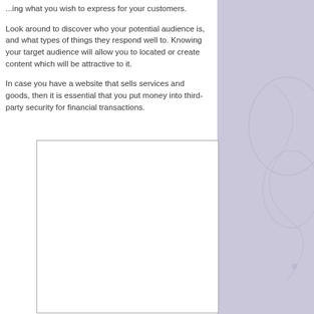...ing what you wish to express for your customers.
Look around to discover who your potential audience is, and what types of things they respond well to. Knowing your target audience will allow you to located or create content which will be attractive to it.
In case you have a website that sells services and goods, then it is essential that you put money into third-party security for financial transactions.
[Figure (other): Empty white rectangle with a thin grey border, likely a placeholder image or content box.]